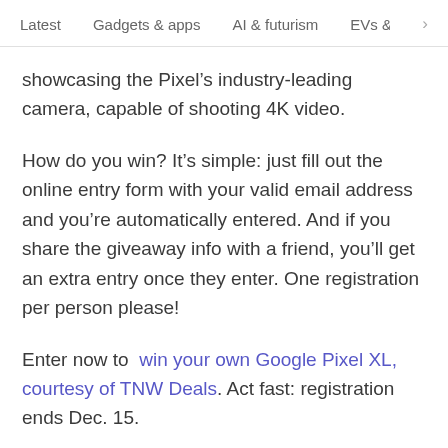Latest   Gadgets & apps   AI & futurism   EVs & mobil  >
showcasing the Pixel's industry-leading camera, capable of shooting 4K video.
How do you win? It's simple: just fill out the online entry form with your valid email address and you're automatically entered. And if you share the giveaway info with a friend, you'll get an extra entry once they enter. One registration per person please!
Enter now to win your own Google Pixel XL, courtesy of TNW Deals. Act fast: registration ends Dec. 15.
Published November 3, 2016 - 3:33 pm UTC